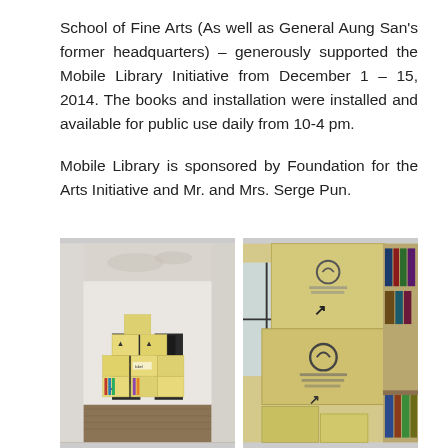School of Fine Arts (As well as General Aung San's former headquarters) – generously supported the Mobile Library Initiative from December 1 – 15, 2014. The books and installation were installed and available for public use daily from 10-4 pm.

Mobile Library is sponsored by Foundation for the Arts Initiative and Mr. and Mrs. Serge Pun.
[Figure (photo): Interior of a large empty room with high ceiling, showing stacked yellow/beige boxes arranged to form a makeshift shelving unit with books, two dark doorways visible in the background]
[Figure (photo): Close-up of stacked cardboard/yellow boxes with printed labels and arrow markings, books visible on shelves to the right, window with natural light in background]